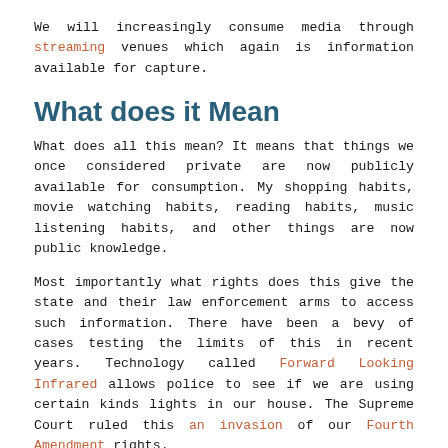We will increasingly consume media through streaming venues which again is information available for capture.
What does it Mean
What does all this mean? It means that things we once considered private are now publicly available for consumption. My shopping habits, movie watching habits, reading habits, music listening habits, and other things are now public knowledge.
Most importantly what rights does this give the state and their law enforcement arms to access such information. There have been a bevy of cases testing the limits of this in recent years. Technology called Forward Looking Infrared allows police to see if we are using certain kinds lights in our house. The Supreme Court ruled this an invasion of our Fourth Amendment rights.
We will see a huge increase of drones patrolling our skies in the future as well as more cameras in many public places to watch for criminal activity. All of these things